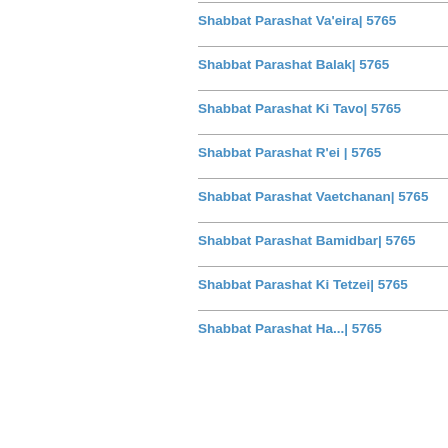Shabbat Parashat Va'eira| 5765
Shabbat Parashat Balak| 5765
Shabbat Parashat Ki Tavo| 5765
Shabbat Parashat R'ei | 5765
Shabbat Parashat Vaetchanan| 5765
Shabbat Parashat Bamidbar| 5765
Shabbat Parashat Ki Tetzei| 5765
Shabbat Parashat Ha...| 5765